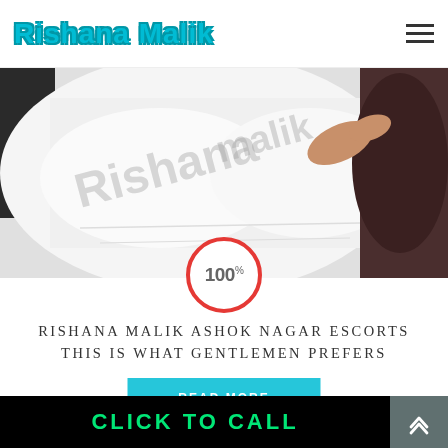Rishana Malik
[Figure (photo): Hero photo of a woman lying on a white bed with a watermark reading Rishana Malik overlaid diagonally]
100%
RISHANA MALIK ASHOK NAGAR ESCORTS THIS IS WHAT GENTLEMEN PREFERS
READ MORE
CLICK TO CALL